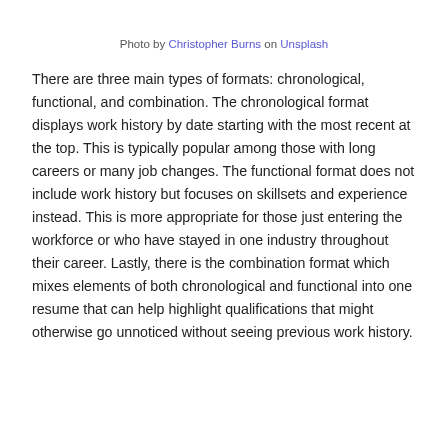Photo by Christopher Burns on Unsplash
There are three main types of formats: chronological, functional, and combination. The chronological format displays work history by date starting with the most recent at the top. This is typically popular among those with long careers or many job changes. The functional format does not include work history but focuses on skillsets and experience instead. This is more appropriate for those just entering the workforce or who have stayed in one industry throughout their career. Lastly, there is the combination format which mixes elements of both chronological and functional into one resume that can help highlight qualifications that might otherwise go unnoticed without seeing previous work history.